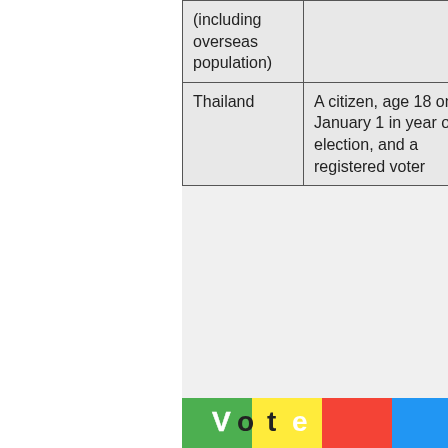| Country | Voter | Candidate |
| --- | --- | --- |
| (including overseas population) |  | Party Rep... to Co... |
| Thailand | A citizen, age 18 on January 1 in year of election, and a registered voter | Mem... Parli... |
Q&A and Discussion
Share this:
Facebook  LinkedIn  Print
Related
[Figure (photo): Colorful vote-related image with green, yellow, red, and blue colors]